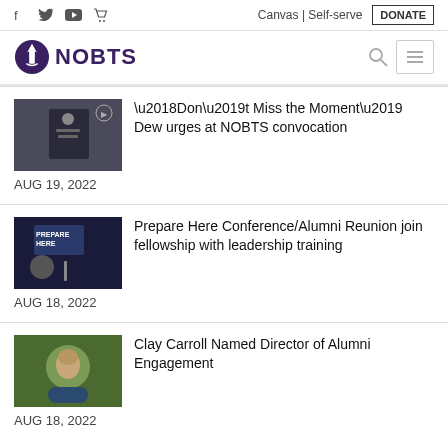f  twitter  youtube  cart  |  Canvas | Self-serve  DONATE
[Figure (logo): NOBTS logo with purple shield/torch icon and bold purple text 'NOBTS']
'Don’t Miss the Moment’ Dew urges at NOBTS convocation
AUG 19, 2022
Prepare Here Conference/Alumni Reunion join fellowship with leadership training
AUG 18, 2022
Clay Carroll Named Director of Alumni Engagement
AUG 18, 2022